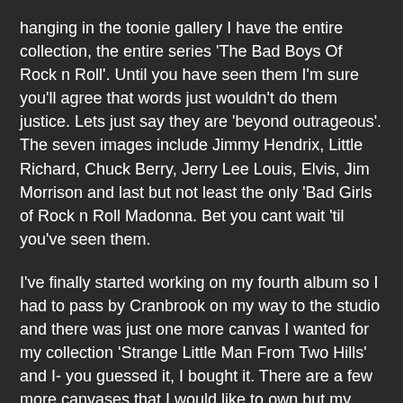hanging in the toonie gallery I have the entire collection, the entire series 'The Bad Boys Of Rock n Roll'. Until you have seen them I'm sure you'll agree that words just wouldn't do them justice. Lets just say they are 'beyond outrageous'. The seven images include Jimmy Hendrix, Little Richard, Chuck Berry, Jerry Lee Louis, Elvis, Jim Morrison and last but not least the only 'Bad Girls of Rock n Roll Madonna. Bet you cant wait 'til you've seen them.
I've finally started working on my fourth album so I had to pass by Cranbrook on my way to the studio and there was just one more canvas I wanted for my collection 'Strange Little Man From Two Hills' and I- you guessed it, I bought it. There are a few more canvases that I would like to own but my house is small and I'm running out of wall space. we'll see. I really do miss my buddy ManWoman as I was his best friend north or Harrogate BC.